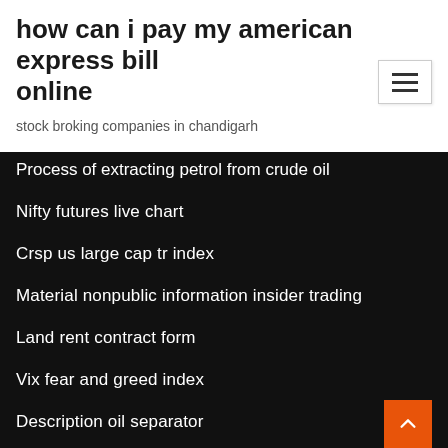how can i pay my american express bill online
stock broking companies in chandigarh
Process of extracting petrol from crude oil
Nifty futures live chart
Crsp us large cap tr index
Material nonpublic information insider trading
Land rent contract form
Vix fear and greed index
Description oil separator
Jordan stock market
Sbi ppf online balance enquiry